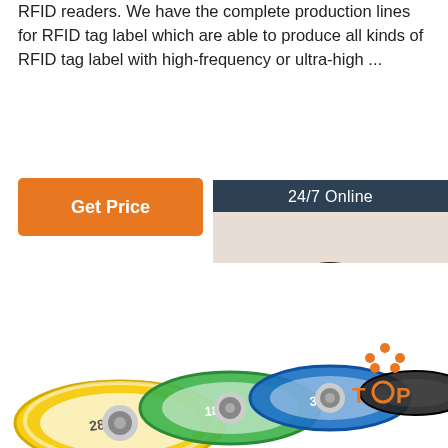RFID readers. We have the complete production lines for RFID tag label which are able to produce all kinds of RFID tag label with high-frequency or ultra-high ...
[Figure (illustration): Orange 'Get Price' button]
[Figure (illustration): Customer service chat widget with '24/7 Online' header, photo of woman with headset, 'Click here for free chat!' text, and orange QUOTATION button]
[Figure (photo): Colorful RFID wristbands (yellow, green, blue, black) with numbers 288, 182, 309 visible, and TOP logo in bottom right]